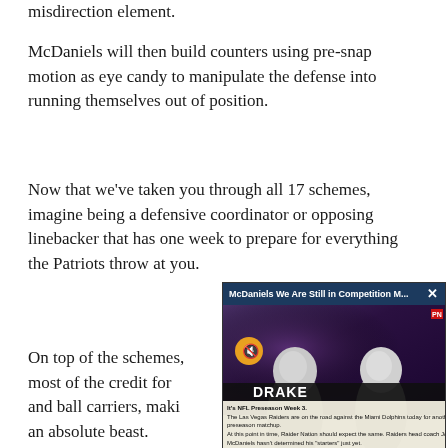misdirection element.
McDaniels will then build counters using pre-snap motion as eye candy to manipulate the defense into running themselves out of position.
Now that we've taken you through all 17 schemes, imagine being a defensive coordinator or opposing linebacker that has one week to prepare for everything the Patriots throw at you.
On top of the schemes, most of the credit for and ball carriers, making an absolute beast.
[Figure (screenshot): A video popup overlay showing NFL players in silver/grey Raiders helmets with title bar reading 'McDaniels We Are Still in Competition M...' and a close button. A mute button icon is visible. Caption text at bottom reads: 'It's NFL Preseason Week 3. The Las Vegas Raiders are on the road against the Miami Dolphins today for another preseason matchup. At this point in time, Raider Nation should expect the same. Raiders head coach Josh McDaniels hasn't determined his "starters" just yet.']